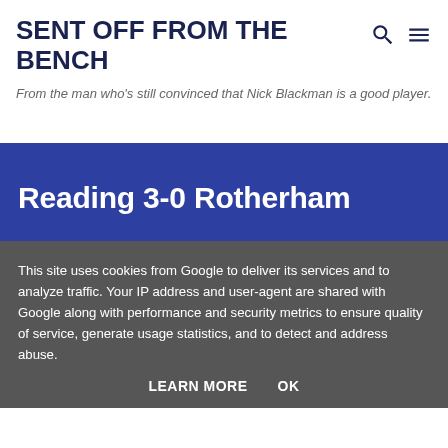SENT OFF FROM THE BENCH
From the man who's still convinced that Nick Blackman is a good player.
Reading 3-0 Rotherham
This site uses cookies from Google to deliver its services and to analyze traffic. Your IP address and user-agent are shared with Google along with performance and security metrics to ensure quality of service, generate usage statistics, and to detect and address abuse.
LEARN MORE    OK